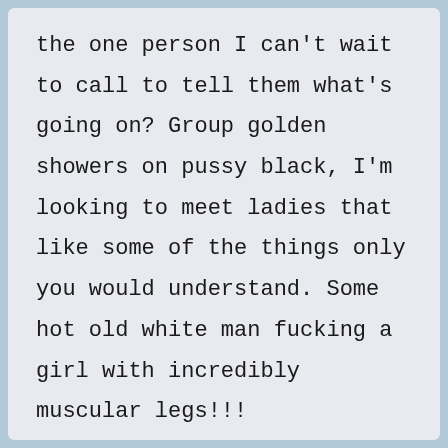the one person I can't wait to call to tell them what's going on? Group golden showers on pussy black, I'm looking to meet ladies that like some of the things only you would understand. Some hot old white man fucking a girl with incredibly muscular legs!!!